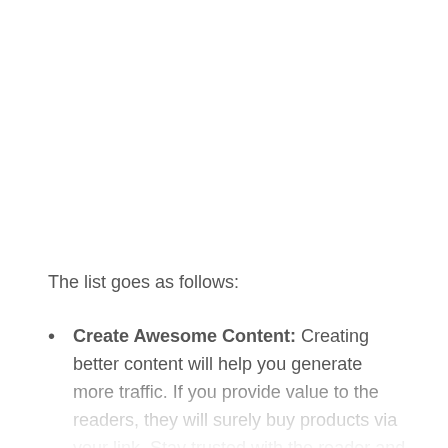The list goes as follows:
Create Awesome Content: Creating better content will help you generate more traffic. If you provide value to the readers, they will surely buy products via your link. Stay trusted with the reader and tell all the pros